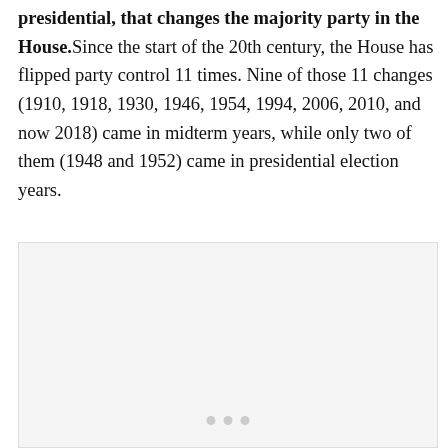presidential, that changes the majority party in the House. Since the start of the 20th century, the House has flipped party control 11 times. Nine of those 11 changes (1910, 1918, 1930, 1946, 1954, 1994, 2006, 2010, and now 2018) came in midterm years, while only two of them (1948 and 1952) came in presidential election years.
[Figure (other): Light gray rectangular image area with pagination dots at the bottom center]